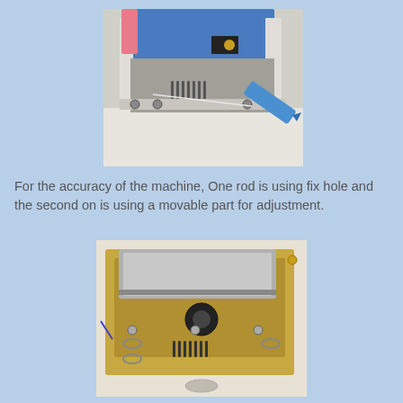[Figure (photo): Close-up photo of a machine component with a blue surface plate on top, showing metal rods, screws, and a blue screwdriver or tool being used to adjust a screw or rod on the side of the machine frame.]
For the accuracy of the machine, One rod is using fix hole and the second on is using a movable part for adjustment.
[Figure (photo): Photo of the underside or back of a machine showing a metal box/drawer, gold/brass colored frame with ventilation slots, mounting hardware with oval slots for adjustment, and screws.]